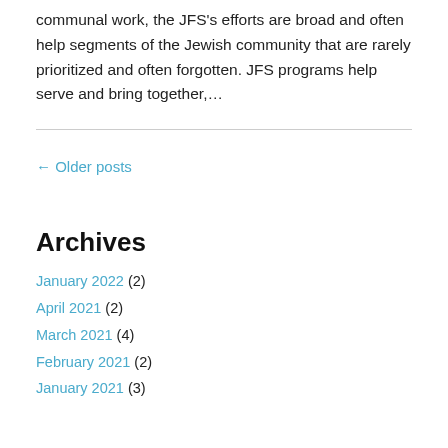communal work, the JFS's efforts are broad and often help segments of the Jewish community that are rarely prioritized and often forgotten. JFS programs help serve and bring together,...
← Older posts
Archives
January 2022 (2)
April 2021 (2)
March 2021 (4)
February 2021 (2)
January 2021 (3)